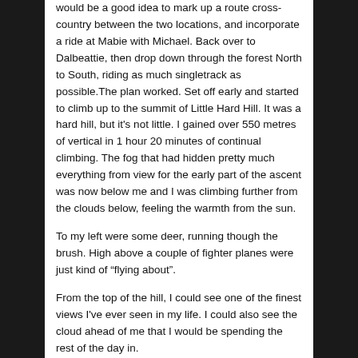would be a good idea to mark up a route cross-country between the two locations, and incorporate a ride at Mabie with Michael. Back over to Dalbeattie, then drop down through the forest North to South, riding as much singletrack as possible.The plan worked. Set off early and started to climb up to the summit of Little Hard Hill. It was a hard hill, but it's not little. I gained over 550 metres of vertical in 1 hour 20 minutes of continual climbing. The fog that had hidden pretty much everything from view for the early part of the ascent was now below me and I was climbing further from the clouds below, feeling the warmth from the sun.
To my left were some deer, running though the brush. High above a couple of fighter planes were just kind of “flying about”.
From the top of the hill, I could see one of the finest views I've ever seen in my life. I could also see the cloud ahead of me that I would be spending the rest of the day in.
[Figure (other): Small document/file icon at the bottom of the page]